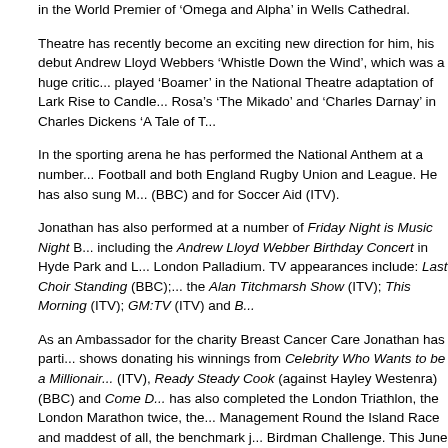in the World Premier of 'Omega and Alpha' in Wells Cathedral.
Theatre has recently become an exciting new direction for him, his debut Andrew Lloyd Webbers 'Whistle Down the Wind', which was a huge critic... played 'Boamer' in the National Theatre adaptation of Lark Rise to Candle... Rosa's 'The Mikado' and 'Charles Darnay' in Charles Dickens 'A Tale of T...
In the sporting arena he has performed the National Anthem at a number... Football and both England Rugby Union and League. He has also sung M... (BBC) and for Soccer Aid (ITV).
Jonathan has also performed at a number of Friday Night is Music Night... including the Andrew Lloyd Webber Birthday Concert in Hyde Park and L... London Palladium. TV appearances include: Last Choir Standing (BBC);... the Alan Titchmarsh Show (ITV); This Morning (ITV); GM:TV (ITV) and B...
As an Ambassador for the charity Breast Cancer Care Jonathan has parti... shows donating his winnings from Celebrity Who Wants to be a Millionaire... (ITV), Ready Steady Cook (against Hayley Westenra) (BBC) and Come D... has also completed the London Triathlon, the London Marathon twice, the... Management Round the Island Race and maddest of all, the benchmark j... Birdman Challenge. This June he is due to zip line off the Humber bridge... money for local boy Austin Akinson's new wheelchair.
Jonathan's latest solo album 'Two Hearts', an eclectic mix of popular, rock... love songs, including his first self penned track is out soon.